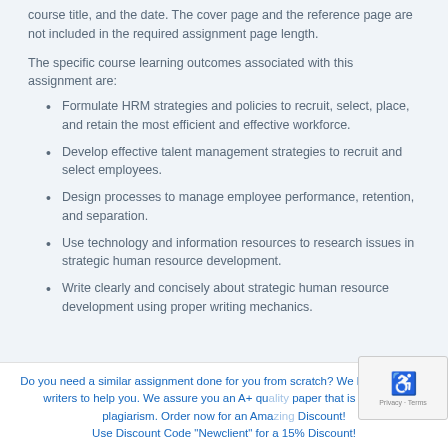course title, and the date. The cover page and the reference page are not included in the required assignment page length.
The specific course learning outcomes associated with this assignment are:
Formulate HRM strategies and policies to recruit, select, place, and retain the most efficient and effective workforce.
Develop effective talent management strategies to recruit and select employees.
Design processes to manage employee performance, retention, and separation.
Use technology and information resources to research issues in strategic human resource development.
Write clearly and concisely about strategic human resource development using proper writing mechanics.
Do you need a similar assignment done for you from scratch? We have qualified writers to help you. We assure you an A+ quality paper that is free from plagiarism. Order now for an Amazing Discount! Use Discount Code "Newclient" for a 15% Discount!